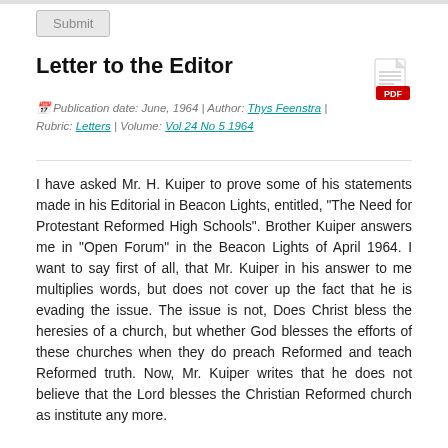Letter to the Editor
Publication date: June, 1964 | Author: Thys Feenstra | Rubric: Letters | Volume: Vol 24 No 5 1964
I have asked Mr. H. Kuiper to prove some of his statements made in his Editorial in Beacon Lights, entitled, “The Need for Protestant Reformed High Schools”. Brother Kuiper answers me in “Open Forum” in the Beacon Lights of April 1964. I want to say first of all, that Mr. Kuiper in his answer to me multiplies words, but does not cover up the fact that he is evading the issue. The issue is not, Does Christ bless the heresies of a church, but whether God blesses the efforts of these churches when they do preach Reformed and teach Reformed truth. Now, Mr. Kuiper writes that he does not believe that the Lord blesses the Christian Reformed church as institute any more.